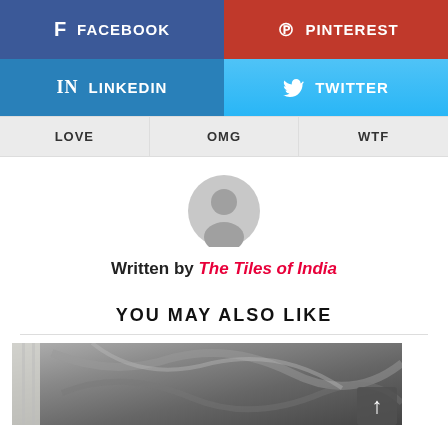[Figure (infographic): Social media share buttons: Facebook (dark blue), Pinterest (red), LinkedIn (blue), Twitter (light blue), each with icon and label]
LOVE
OMG
WTF
[Figure (illustration): Generic user/author avatar icon in grey]
Written by The Tiles of India
YOU MAY ALSO LIKE
[Figure (photo): Partial view of a tile/wall pattern image, dark marbled stone texture]